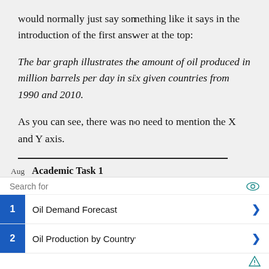would normally just say something like it says in the introduction of the first answer at the top:
The bar graph illustrates the amount of oil produced in million barrels per day in six given countries from 1990 and 2010.
As you can see, there was no need to mention the X and Y axis.
Aug  Academic Task 1
Search for
1  Oil Demand Forecast
2  Oil Production by Country